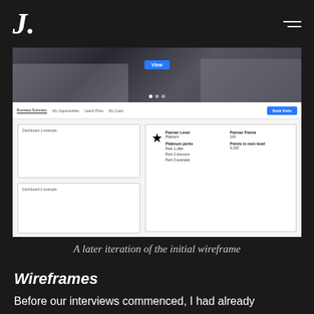J.
[Figure (screenshot): A later iteration wireframe screenshot showing a dashboard with navigation bar (Business Summary, My Opportunities, Leech Price, My Costs, Book Visits button), two dashboard example boxes on the left, and a partner level card on the right showing Partner Level: Platinum, Partner Points: 100, Platinum perks: Perk 1 offer, Perk 2 discount, Perk 3 example, Points to next level: 3,150]
A later iteration of the initial wireframe
Wireframes
Before our interviews commenced, I had already